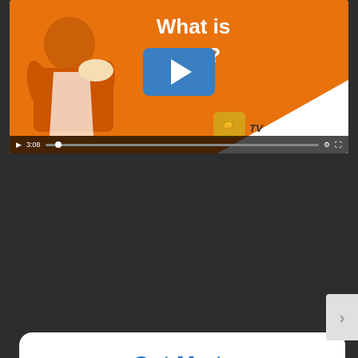[Figure (screenshot): Video thumbnail showing a man in orange hoodie eating, with orange background, text 'What is MPTV?', a blue play button overlay, and video controls showing 3:08 duration. MP TV logo visible in bottom right of thumbnail.]
Get MP TV Delivered To Your Inbox Weekly
Email Address